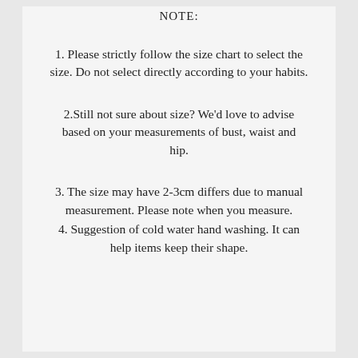NOTE:
1. Please strictly follow the size chart to select the size. Do not select directly according to your habits.
2.Still not sure about size? We'd love to advise based on your measurements of bust, waist and hip.
3. The size may have 2-3cm differs due to manual measurement. Please note when you measure.
4. Suggestion of cold water hand washing. It can help items keep their shape.